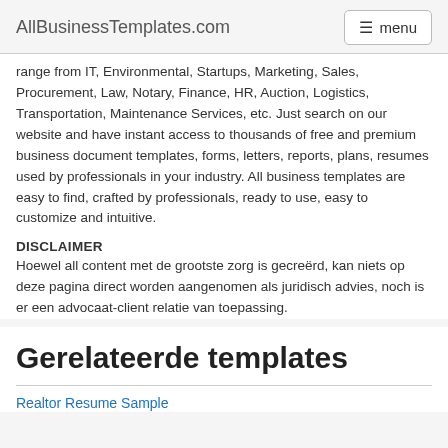AllBusinessTemplates.com   menu
range from IT, Environmental, Startups, Marketing, Sales, Procurement, Law, Notary, Finance, HR, Auction, Logistics, Transportation, Maintenance Services, etc. Just search on our website and have instant access to thousands of free and premium business document templates, forms, letters, reports, plans, resumes used by professionals in your industry. All business templates are easy to find, crafted by professionals, ready to use, easy to customize and intuitive.
DISCLAIMER
Hoewel all content met de grootste zorg is gecreërd, kan niets op deze pagina direct worden aangenomen als juridisch advies, noch is er een advocaat-client relatie van toepassing.
Gerelateerde templates
Realtor Resume Sample